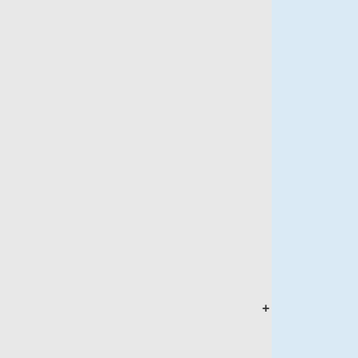cover the either the full or the nominal mission.  For HFI, the 143-8 and 545-3 bolometers are rejected entirely as they are seriously affected by RTS noise.  HFI provides the Q and U components for the 100, 143, 217 and 353 GHz channels only. LFI provides the I, Q and U maps for all the channels